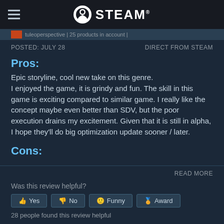STEAM
tuleoperspective | 25 products in account |
POSTED: JULY 28   DIRECT FROM STEAM
Pros:
Epic storyline, cool new take on this genre.
I enjoyed the game, it is grindy and fun. The skill in this game is exciting compared to similar game. I really like the concept maybe even better than SDV, but the poor execution drains my excitement. Given that it is still in alpha, I hope they'll do big optimization update sooner / later.
Cons:
READ MORE
Was this review helpful?
Yes  No  Funny  Award
28 people found this review helpful